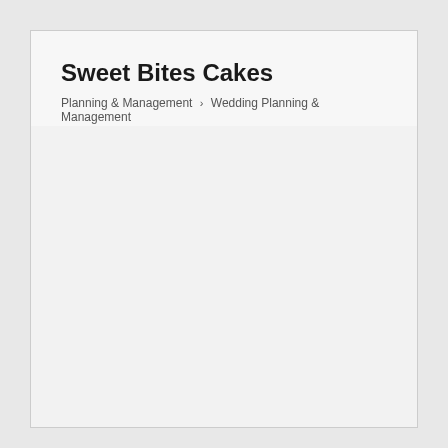Sweet Bites Cakes
Planning & Management › Wedding Planning & Management